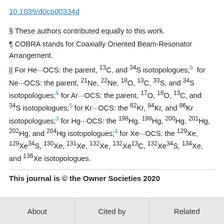10.1039/d0cp00334d
§ These authors contributed equally to this work.
¶ COBRA stands for Coaxially Oriented Beam-Resonator Arrangement.
|| For He···OCS: the parent, 13C, and 34S isotopologues; 9 for Ne···OCS: the parent, 21Ne, 22Ne, 18O, 13C, 33S, and 34S isotopologues; 6 for Ar···OCS: the parent, 17O, 18O, 13C, and 34S isotopologues; 5 for Kr···OCS: the 82Kr, 84Kr, and 86Kr isotopologues; 3 for Hg···OCS: the 198Hg, 199Hg, 200Hg, 201Hg, 202Hg, and 204Hg isotopologues; 4 for Xe···OCS: the 129Xe, 129Xe34S, 130Xe, 131Xe, 132Xe, 132Xe13C, 132Xe34S, 134Xe, and 136Xe isotopologues.
This journal is © the Owner Societies 2020
About | Cited by | Related